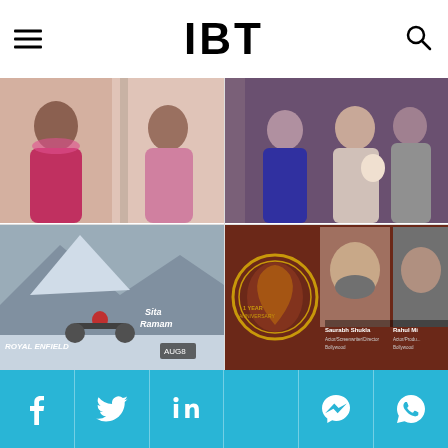IBT
[Figure (photo): Photo of Alia Bhatt showing pregnancy glow, two women posing together]
Mom-To-Be Alia Bhatt's Pregnancy Glow Is All Things Radiant; See Pic [Details]
[Figure (photo): Sonam Kapoor with newborn, family members embracing]
Sonam Kapoor Returns Home With Her Newborn, Anil Kapoor Celebrates With Media
[Figure (photo): Movie promotional image for Sita Ramam - Royal Enfield motorcycle scene, releasing Aug]
Dulquer Salman-Starrer 'Sita Ramam' To Release In Hindi On Friday, Sept 2
[Figure (photo): Bollywood Festival Norway panel - Saurabh Shukla and Rahul Mi shown with their names and roles]
Bollywood Festival Norway To Pay Homage To Lata Mangeshkar, Opens On Sept 9
Social media share icons: Facebook, Twitter, LinkedIn, Messenger, WhatsApp